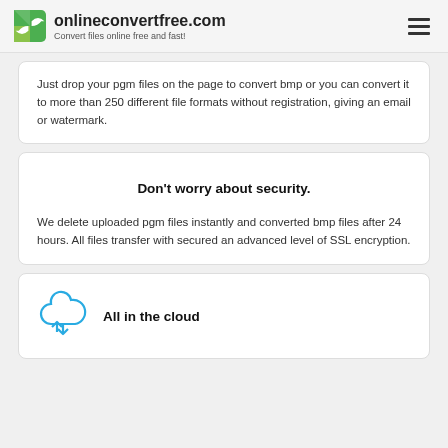onlineconvertfree.com — Convert files online free and fast!
Just drop your pgm files on the page to convert bmp or you can convert it to more than 250 different file formats without registration, giving an email or watermark.
Don't worry about security.
We delete uploaded pgm files instantly and converted bmp files after 24 hours. All files transfer with secured an advanced level of SSL encryption.
All in the cloud